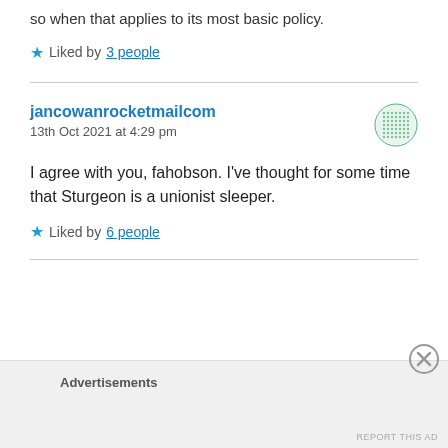so when that applies to its most basic policy.
Liked by 3 people
jancowanrocketmailcom
13th Oct 2021 at 4:29 pm
I agree with you, fahobson. I've thought for some time that Sturgeon is a unionist sleeper.
Liked by 6 people
Advertisements